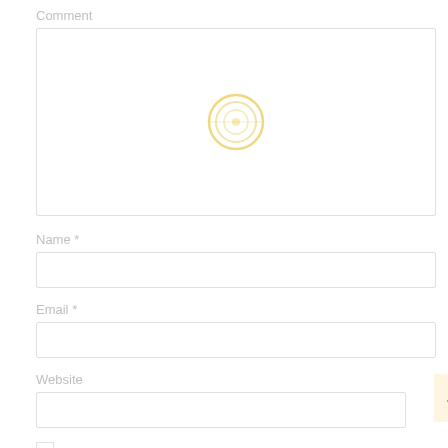Comment
[Figure (other): Large empty comment textarea input box with a loading spinner (concentric yellow circles) centered over it]
Name *
[Figure (other): Empty name text input field]
Email *
[Figure (other): Empty email text input field]
Website
[Figure (other): Empty website text input field with a scroll-to-top button (pale yellow background with up arrow) at far right]
[Figure (other): Empty checkbox]